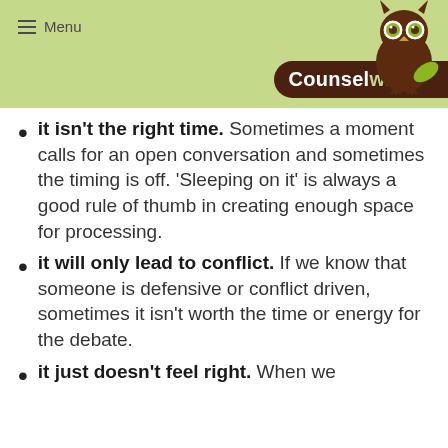Menu — Counselwise
it isn't the right time. Sometimes a moment calls for an open conversation and sometimes the timing is off. 'Sleeping on it' is always a good rule of thumb in creating enough space for processing.
it will only lead to conflict. If we know that someone is defensive or conflict driven, sometimes it isn't worth the time or energy for the debate.
it just doesn't feel right. When we